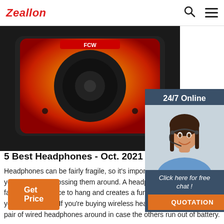Zeallon
[Figure (photo): Close-up photo of a speaker with yellow/orange gradient grille and black frame, red logo at top]
[Figure (photo): 24/7 Online chat widget with woman wearing headset, dark blue background, 'Click here for free chat!' text and orange QUOTATION button]
5 Best Headphones - Oct. 2021 - BestReviews
Headphones can be fairly fragile, so it's important to take care of yours and avoid tossing them around. A headphone stand gives your favorite pair a place to hang and creates a fun conversation piece for your workstation. If you're buying wireless headphones, keep a spare pair of wired headphones around in case the others run out of battery.
Get Price